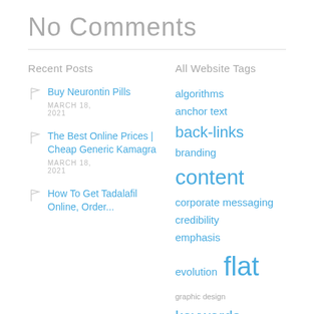No Comments
Recent Posts
All Website Tags
Buy Neurontin Pills
MARCH 18, 2021
The Best Online Prices | Cheap Generic Kamagra
MARCH 18, 2021
How To Get Tadalafil Online, Order...
algorithms anchor text back-links branding content corporate messaging credibility emphasis evolution flat graphic design keywords linking strategy links loyalty